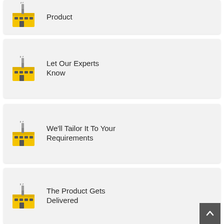[Figure (illustration): Factory/manufacturing building icon in yellow and grey with smokestack]
Product
[Figure (illustration): Factory/manufacturing building icon in yellow and grey with smokestack]
Let Our Experts Know
[Figure (illustration): Factory/manufacturing building icon in yellow and grey with smokestack]
We'll Tailor It To Your Requirements
[Figure (illustration): Factory/manufacturing building icon in yellow and grey with smokestack]
The Product Gets Delivered